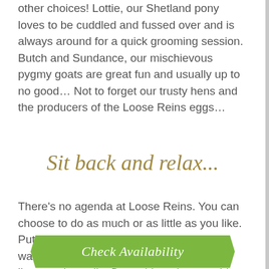other choices! Lottie, our Shetland pony loves to be cuddled and fussed over and is always around for a quick grooming session. Butch and Sundance, our mischievous pygmy goats are great fun and usually up to no good… Not to forget our trusty hens and the producers of the Loose Reins eggs…
Sit back and relax...
There's no agenda at Loose Reins. You can choose to do as much or as little as you like. Put your feet up by the woodburner and watch the world go by, grab a good book, listen to the radio. Do nothing, do something, it's up to you…
[Figure (other): Green chevron-shaped button with white italic text reading 'Check Availability']